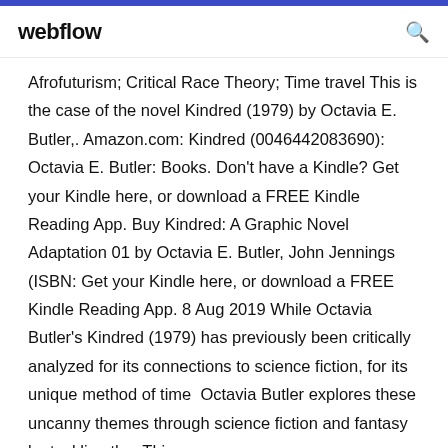webflow
Afrofuturism; Critical Race Theory; Time travel This is the case of the novel Kindred (1979) by Octavia E. Butler,. Amazon.com: Kindred (0046442083690): Octavia E. Butler: Books. Don't have a Kindle? Get your Kindle here, or download a FREE Kindle Reading App. Buy Kindred: A Graphic Novel Adaptation 01 by Octavia E. Butler, John Jennings (ISBN: Get your Kindle here, or download a FREE Kindle Reading App. 8 Aug 2019 While Octavia Butler's Kindred (1979) has previously been critically analyzed for its connections to science fiction, for its unique method of time  Octavia Butler explores these uncanny themes through science fiction and fantasy by tackling the. This